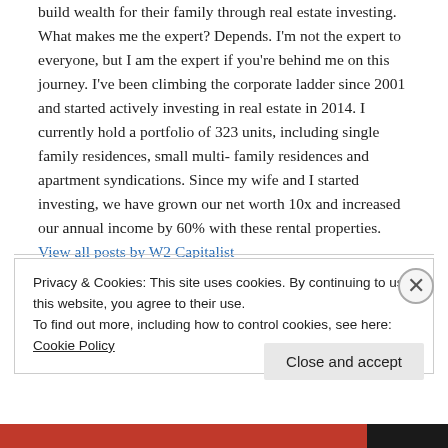build wealth for their family through real estate investing. What makes me the expert? Depends. I'm not the expert to everyone, but I am the expert if you're behind me on this journey. I've been climbing the corporate ladder since 2001 and started actively investing in real estate in 2014. I currently hold a portfolio of 323 units, including single family residences, small multi-family residences and apartment syndications. Since my wife and I started investing, we have grown our net worth 10x and increased our annual income by 60% with these rental properties. View all posts by W2 Capitalist
Privacy & Cookies: This site uses cookies. By continuing to use this website, you agree to their use.
To find out more, including how to control cookies, see here: Cookie Policy
Close and accept